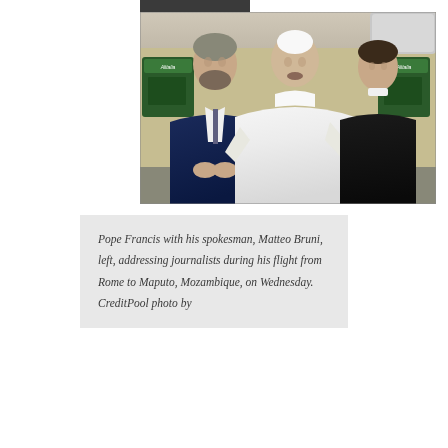[Figure (photo): Pope Francis dressed in white papal vestments holding a microphone, flanked by two men — his spokesman Matteo Bruni in a blue suit on the left, and a priest in black on the right — inside an Alitalia aircraft cabin.]
Pope Francis with his spokesman, Matteo Bruni, left, addressing journalists during his flight from Rome to Maputo, Mozambique, on Wednesday. CreditPool photo by